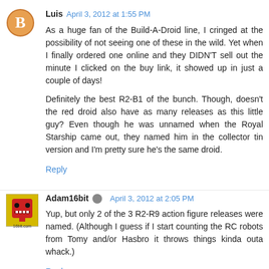[Figure (illustration): Blogger avatar circle icon with orange background and white B silhouette]
Luis April 3, 2012 at 1:55 PM
As a huge fan of the Build-A-Droid line, I cringed at the possibility of not seeing one of these in the wild. Yet when I finally ordered one online and they DIDN'T sell out the minute I clicked on the buy link, it showed up in just a couple of days!
Definitely the best R2-B1 of the bunch. Though, doesn't the red droid also have as many releases as this little guy? Even though he was unnamed when the Royal Starship came out, they named him in the collector tin version and I'm pretty sure he's the same droid.
Reply
[Figure (illustration): Small avatar image showing a red robot/droid face with 16bit.com text below]
Adam16bit  April 3, 2012 at 2:05 PM
Yup, but only 2 of the 3 R2-R9 action figure releases were named. (Although I guess if I start counting the RC robots from Tomy and/or Hasbro it throws things kinda outa whack.)
Reply